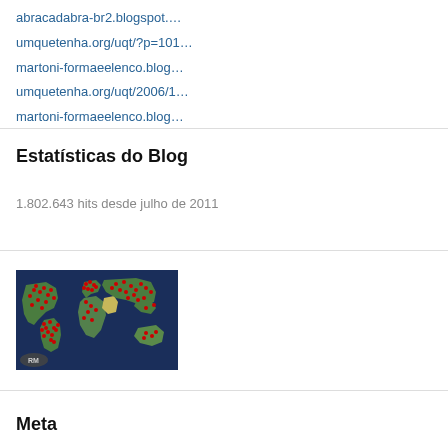abracadabra-br2.blogspot....
umquetenha.org/uqt/?p=101...
martoni-formaeelenco.blog…
umquetenha.org/uqt/2006/1...
martoni-formaeelenco.blog…
Estatísticas do Blog
1.802.643 hits desde julho de 2011
[Figure (map): World map with red dots indicating visitor locations, with RM logo in bottom left corner]
Meta